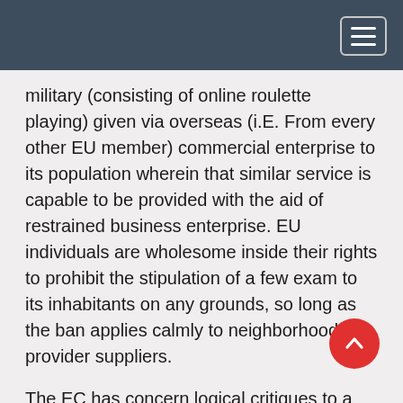military (consisting of online roulette playing) given via overseas (i.E. From every other EU member) commercial enterprise to its population wherein that similar service is capable to be provided with the aid of restrained business enterprise. EU individuals are wholesome inside their rights to prohibit the stipulation of a few exam to its inhabitants on any grounds, so long as the ban applies calmly to neighborhood provider suppliers.
The EC has concern logical critiques to a huge wide variety of EU individuals that it considers be in spoil of EU law in this hold. The majority (reasonably) are unwilling to alter their approach and the records has exposed that the EC's